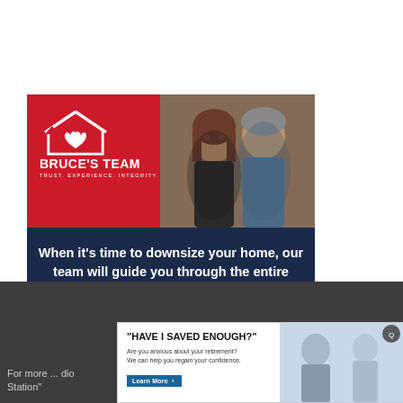[Figure (infographic): Bruce's Team real estate advertisement. Red top section with white house/heart logo, brand name 'BRUCE'S TEAM' and tagline 'TRUST. EXPERIENCE. INTEGRITY.' Photo of man and woman on right. Dark navy section with text 'When it's time to downsize your home, our team will guide you through the entire process!'. Red strip with 'FREE Seminar September 14th'. Navy bottom with 'Register now!' button.]
For more ... dio Station"
[Figure (infographic): Advertisement overlay: '"HAVE I SAVED ENOUGH?"' with subtitle 'Are you anxious about your retirement? We can help you regain your confidence.' Learn More button. Right side shows photo of people.]